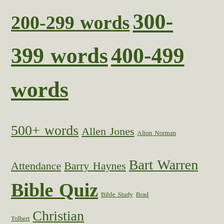200-299 words 300-399 words 400-499 words 500+ words Allen Jones Alton Norman Attendance Barry Haynes Bart Warren Bible Quiz Bible Study Brad Tolbert Christian growth Christian Living Crossword-Exodus Doug Kashorek Eddie Parrish Edd Sterchi Encouragement Evangelism Faith Fillers God's word Humor Jesus Kerry Duke Larry Fitzgerald love Matt Clifton Obedience